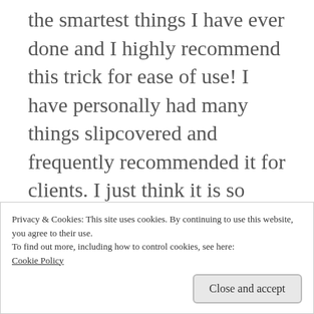the smartest things I have ever done and I highly recommend this trick for ease of use! I have personally had many things slipcovered and frequently recommended it for clients. I just think it is so practical for cleaning! The woman who has made slipcovers for me uses muslin to make a pattern directly on the piece of
Privacy & Cookies: This site uses cookies. By continuing to use this website, you agree to their use.
To find out more, including how to control cookies, see here:
Cookie Policy
Close and accept